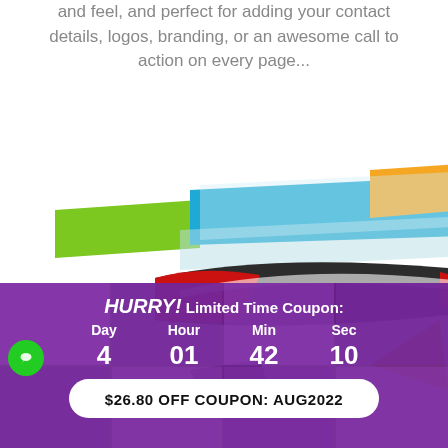and feel, and perfect for adding your contact details, logos, branding, or an awesome call to action on every page...
[Figure (illustration): Colorful abstract swooping banner/header design elements: a multi-colored rectangular bar (green, blue, orange, light blue) on top and a dark gray/red/white curved swoosh shape beneath, on a white background. A yellow triangle is partially visible at the bottom right.]
HURRY! Limited Time Coupon: Day 4 | Hour 01 | Min 42 | Sec 10
$26.80 OFF COUPON: AUG2022